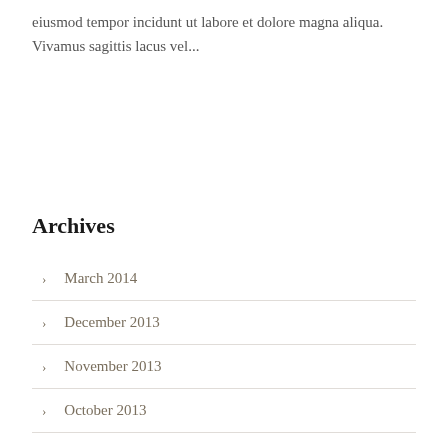eiusmod tempor incidunt ut labore et dolore magna aliqua. Vivamus sagittis lacus vel...
Archives
March 2014
December 2013
November 2013
October 2013
September 2013
August 2013